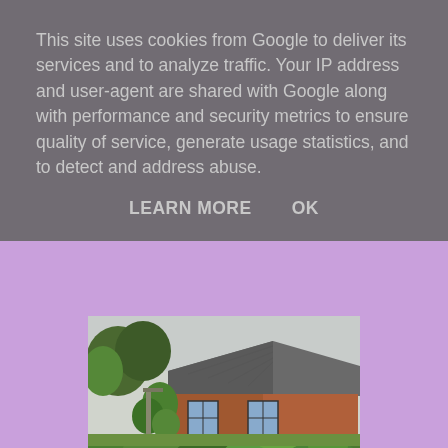This site uses cookies from Google to deliver its services and to analyze traffic. Your IP address and user-agent are shared with Google along with performance and security metrics to ensure quality of service, generate usage statistics, and to detect and address abuse.
LEARN MORE    OK
[Figure (photo): Close-up photograph of dense green garden foliage with various leaves and small yellow flowers visible]
[Figure (photo): Photograph of a suburban house with a tiled roof, partially obscured by trees and climbing plants]